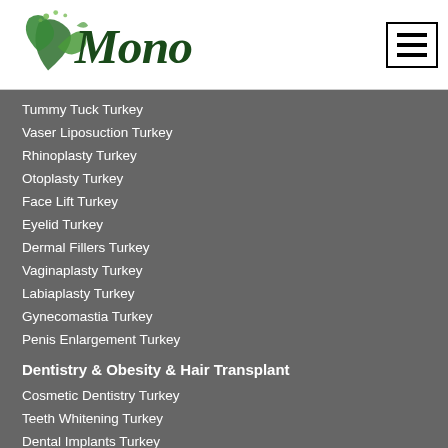[Figure (logo): Mono clinic logo with green leaf design and cursive 'Mono' text]
Tummy Tuck Turkey
Vaser Liposuction Turkey
Rhinoplasty Turkey
Otoplasty Turkey
Face Lift Turkey
Eyelid Turkey
Dermal Fillers Turkey
Vaginaplasty Turkey
Labiaplasty Turkey
Gynecomastia Turkey
Penis Enlargement Turkey
Dentistry & Obesity & Hair Transplant
Cosmetic Dentistry Turkey
Teeth Whitening Turkey
Dental Implants Turkey
Dental Veneers Turkey
Dental Crowns Turkey